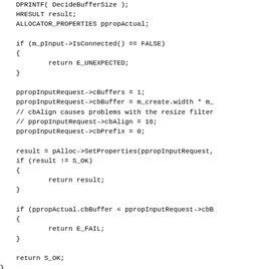DPRINTF( DecideBufferSize );
    HRESULT result;
    ALLOCATOR_PROPERTIES ppropActual;

    if (m_pInput->IsConnected() == FALSE)
    {
            return E_UNEXPECTED;
    }

    ppropInputRequest->cBuffers = 1;
    ppropInputRequest->cbBuffer = m_create.width * m_
    // cbAlign causes problems with the resize filter
    // ppropInputRequest->cbAlign = 16;
    ppropInputRequest->cbPrefix = 0;

    result = pAlloc->SetProperties(ppropInputRequest,
    if (result != S_OK)
    {
            return result;
    }

    if (ppropActual.cbBuffer < ppropInputRequest->cbB
    {
            return E_FAIL;
    }

    return S_OK;
}

/* decode_frame */